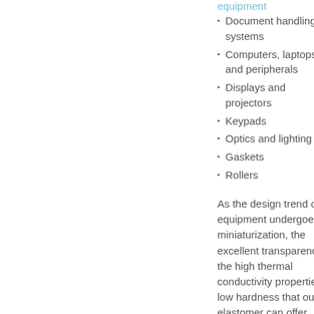equipment
Document handling systems
Computers, laptops and peripherals
Displays and projectors
Keypads
Optics and lighting
Gaskets
Rollers
As the design trend of such equipment undergoes miniaturization, the excellent transparency or the high thermal conductivity properties and low hardness that our elastomer can offer become increasingly crucial to the success of equipment reliability and performance. If the right material doesn't exist already, we may be able